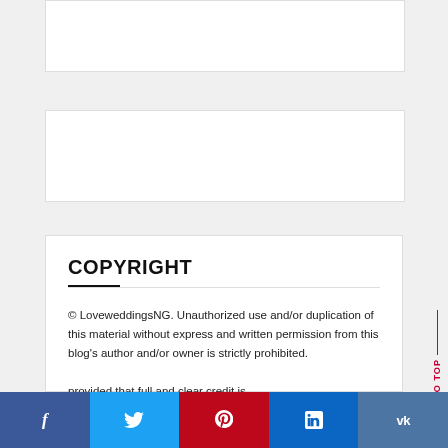[Figure (other): Empty white advertisement box at top]
[Figure (other): Empty white advertisement box in middle]
COPYRIGHT
© LoveweddingsNG. Unauthorized use and/or duplication of this material without express and written permission from this blog's author and/or owner is strictly prohibited. provided that full and clear credit is
f  t  p  in  vk